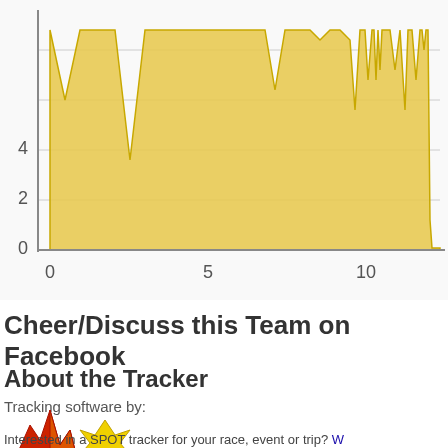[Figure (continuous-plot): Area chart showing speed or elevation data over distance (x-axis: 0 to ~12+, y-axis: 0 to ~5). Data fills most of the chart with values between 4-5, drops sharply around x=11, then resumes at a low level.]
Cheer/Discuss this Team on Facebook
About the Tracker
Tracking software by:
[Figure (logo): topofusion.com GPS Mapping logo with red/orange mountain peak graphic and yellow star/lightning bolt element]
Interested in a SPOT tracker for your race, event or trip? W...